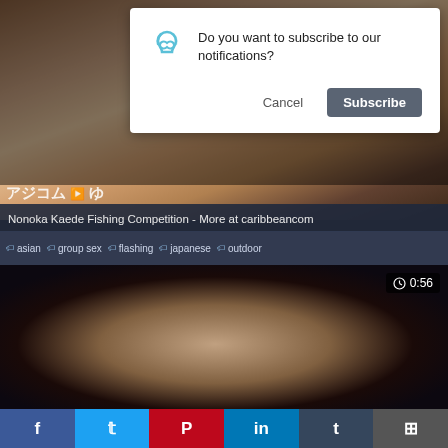[Figure (screenshot): Browser notification permission dialog overlaying a video thumbnail. Dialog reads 'Do you want to subscribe to our notifications?' with Cancel and Subscribe buttons.]
Do you want to subscribe to our notifications?
Cancel
Subscribe
[Figure (screenshot): Video thumbnail showing title bar: Nonoka Kaede Fishing Competition - More at caribbeancom, with tags: asian, group sex, flashing, japanese, outdoor]
Nonoka Kaede Fishing Competition - More at caribbeancom
asian  group sex  flashing  japanese  outdoor
[Figure (screenshot): Video thumbnail with duration badge showing 0:56]
0:56